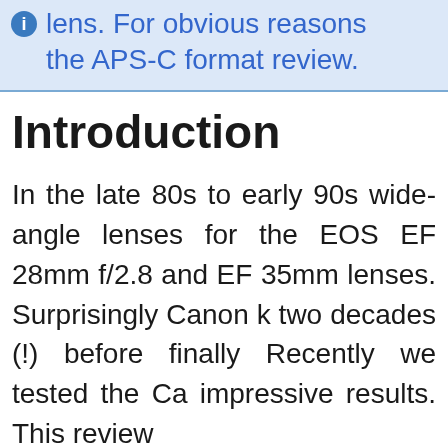lens. For obvious reasons the APS-C format review.
Introduction
In the late 80s to early 90s wide-angle lenses for the EOS EF 28mm f/2.8 and EF 35mm lenses. Surprisingly Canon k two decades (!) before finally Recently we tested the Ca impressive results. This review